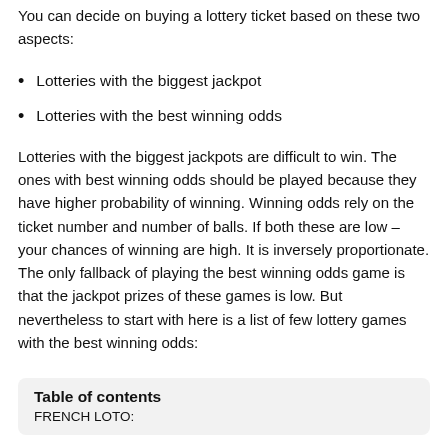You can decide on buying a lottery ticket based on these two aspects:
Lotteries with the biggest jackpot
Lotteries with the best winning odds
Lotteries with the biggest jackpots are difficult to win. The ones with best winning odds should be played because they have higher probability of winning. Winning odds rely on the ticket number and number of balls. If both these are low – your chances of winning are high. It is inversely proportionate. The only fallback of playing the best winning odds game is that the jackpot prizes of these games is low. But nevertheless to start with here is a list of few lottery games with the best winning odds:
Table of contents
FRENCH LOTO: